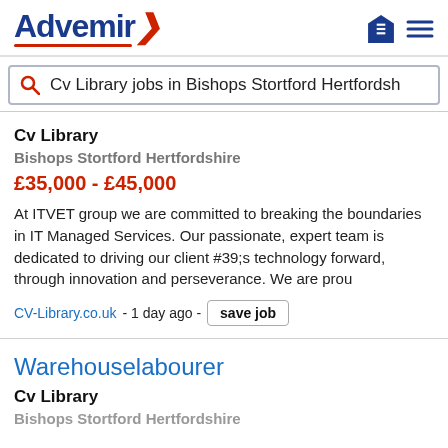[Figure (logo): Advemix logo with blue and red text]
Cv Library jobs in Bishops Stortford Hertfordsh
Cv Library
Bishops Stortford Hertfordshire
£35,000 - £45,000
At ITVET group we are committed to breaking the boundaries in IT Managed Services. Our passionate, expert team is dedicated to driving our client #39;s technology forward, through innovation and perseverance. We are prou
CV-Library.co.uk - 1 day ago - save job
Warehouselabourer
Cv Library
Bishops Stortford Hertfordshire